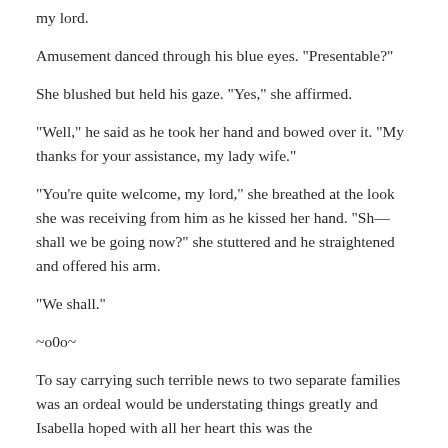my lord.
Amusement danced through his blue eyes. "Presentable?"
She blushed but held his gaze. "Yes," she affirmed.
"Well," he said as he took her hand and bowed over it. "My thanks for your assistance, my lady wife."
"You're quite welcome, my lord," she breathed at the look she was receiving from him as he kissed her hand. "Sh—shall we be going now?" she stuttered and he straightened and offered his arm.
"We shall."
~o0o~
To say carrying such terrible news to two separate families was an ordeal would be understating things greatly and Isabella hoped with all her heart this was the